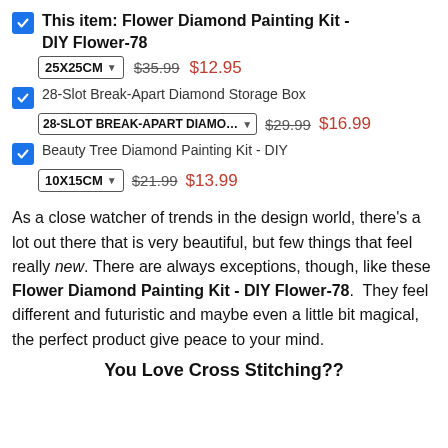This item: Flower Diamond Painting Kit - DIY Flower-78  25X25CM  $35.99  $12.95
28-Slot Break-Apart Diamond Storage Box  28-SLOT BREAK-APART DIAMO...  $29.99  $16.99
Beauty Tree Diamond Painting Kit - DIY  10X15CM  $21.99  $13.99
As a close watcher of trends in the design world, there's a lot out there that is very beautiful, but few things that feel really new. There are always exceptions, though, like these Flower Diamond Painting Kit - DIY Flower-78.  They feel different and futuristic and maybe even a little bit magical, the perfect product give peace to your mind.
You Love Cross Stitching??